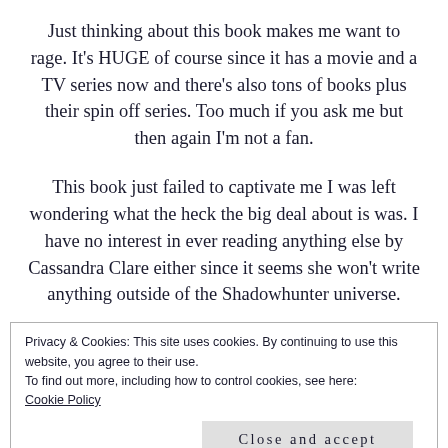Just thinking about this book makes me want to rage. It's HUGE of course since it has a movie and a TV series now and there's also tons of books plus their spin off series. Too much if you ask me but then again I'm not a fan.
This book just failed to captivate me I was left wondering what the heck the big deal about is was. I have no interest in ever reading anything else by Cassandra Clare either since it seems she won't write anything outside of the Shadowhunter universe.
Privacy & Cookies: This site uses cookies. By continuing to use this website, you agree to their use.
To find out more, including how to control cookies, see here: Cookie Policy
Close and accept
those books/series that pops up everywhere and